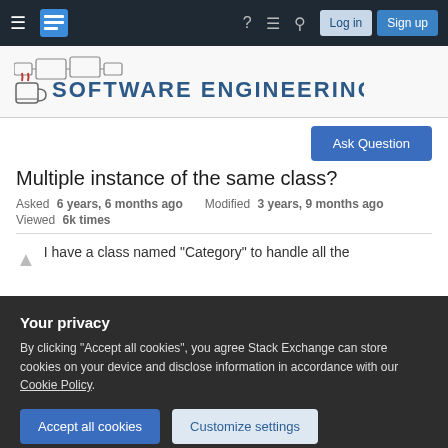Software Engineering Stack Exchange navigation bar with hamburger menu, logo, help, chat, search, Log in, Sign up buttons
[Figure (logo): Software Engineering Stack Exchange site logo with stylized text and icon]
Ask Question
Multiple instance of the same class?
Asked 6 years, 6 months ago   Modified 3 years, 9 months ago   Viewed 6k times
I have a class named "Category" to handle all the
Your privacy

By clicking "Accept all cookies", you agree Stack Exchange can store cookies on your device and disclose information in accordance with our Cookie Policy.

Accept all cookies   Customize settings
thinking about maybe making some kind of